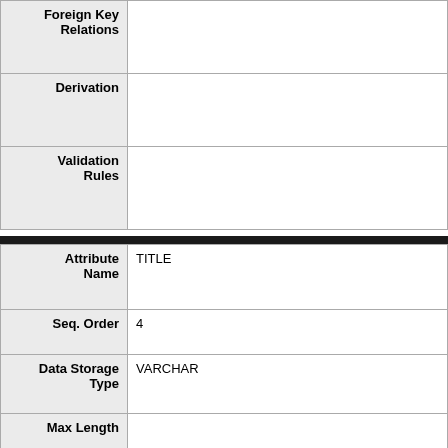| Field | Value |
| --- | --- |
| Foreign Key Relations |  |
| Derivation |  |
| Validation Rules |  |
| Field | Value |
| --- | --- |
| Attribute Name | TITLE |
| Seq. Order | 4 |
| Data Storage Type | VARCHAR |
| Max Length |  |
| Min Length |  |
|  |  |